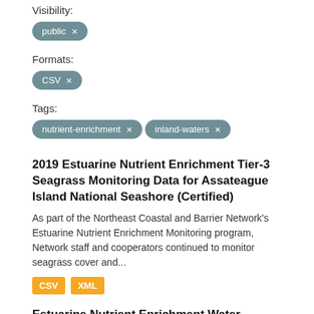Visibility:
public ×
Formats:
CSV ×
Tags:
nutrient-enrichment ×
inland-waters ×
2019 Estuarine Nutrient Enrichment Tier-3 Seagrass Monitoring Data for Assateague Island National Seashore (Certified)
As part of the Northeast Coastal and Barrier Network's Estuarine Nutrient Enrichment Monitoring program, Network staff and cooperators continued to monitor seagrass cover and...
CSV  XML
Estuarine Nutrient Enrichment Water Quality Monitoring Data for Gateway National